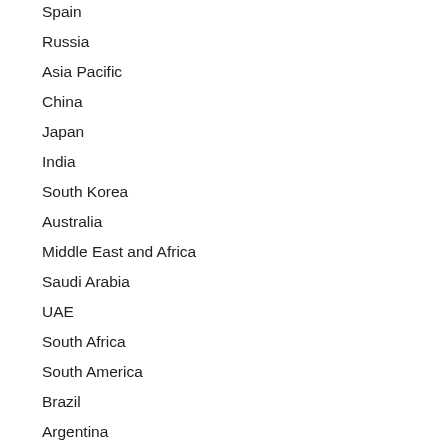Spain
Russia
Asia Pacific
China
Japan
India
South Korea
Australia
Middle East and Africa
Saudi Arabia
UAE
South Africa
South America
Brazil
Argentina
Key Information and data offered by the Clear Bra Paint Protection Film market report: